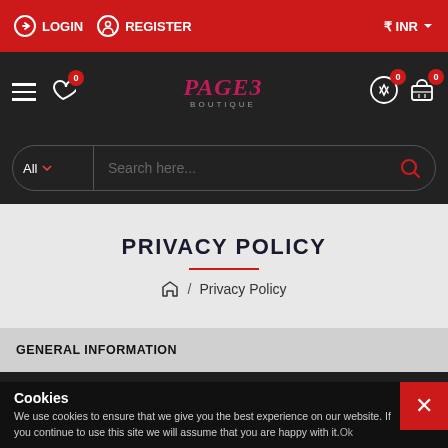LOGIN   REGISTER   ₹ INR
[Figure (screenshot): Navigation bar with hamburger menu, heart wishlist icon with badge 0, PAGE3 BOUTIQUE logo, exchange and cart icons with badge 0]
[Figure (screenshot): Search bar with All category dropdown and search icon on dark background]
PRIVACY POLICY
/ Privacy Policy
GENERAL INFORMATION
Welcome to our Privacy Policy page! When you use our store
Cookies
We use cookies to ensure that we give you the best experience on our website. If you continue to use this site we will assume that you are happy with it.Ok